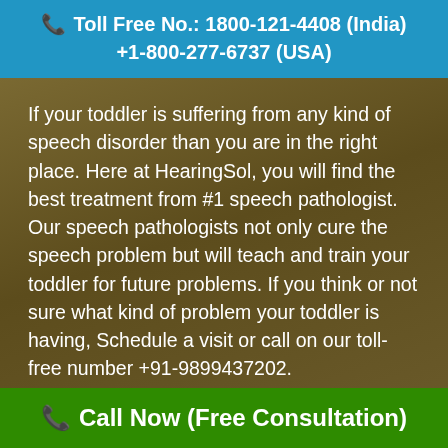Toll Free No.: 1800-121-4408 (India)
+1-800-277-6737 (USA)
If your toddler is suffering from any kind of speech disorder than you are in the right place. Here at HearingSol, you will find the best treatment from #1 speech pathologist. Our speech pathologists not only cure the speech problem but will teach and train your toddler for future problems. If you think or not sure what kind of problem your toddler is having, Schedule a visit or call on our toll-free number +91-9899437202.
Call Now (Free Consultation)